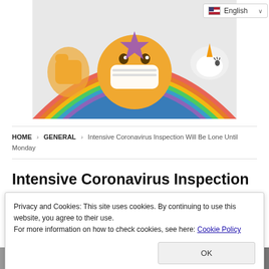[Figure (illustration): Colorful emoji-style illustration showing cartoon characters with face masks against a rainbow background, with thumbs up gestures and a unicorn figure]
🇬🇧 English ∨
HOME > GENERAL > Intensive Coronavirus Inspection Will Be Lone Until Monday
Intensive Coronavirus Inspection
Privacy and Cookies: This site uses cookies. By continuing to use this website, you agree to their use.
For more information on how to check cookies, see here: Cookie Policy
OK
[Figure (photo): Bottom strip of photographs partially visible]